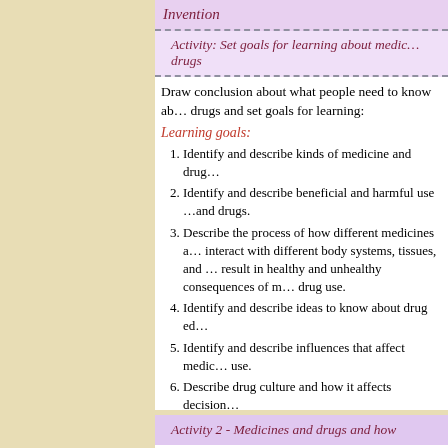Invention
Activity: Set goals for learning about medicines and drugs
Draw conclusion about what people need to know about drugs and set goals for learning:
Learning goals:
Identify and describe kinds of medicine and drugs.
Identify and describe beneficial and harmful use of medicines and drugs.
Describe the process of how different medicines and drugs interact with different body systems, tissues, and result in healthy and unhealthy consequences of medicine and drug use.
Identify and describe ideas to know about drug education.
Identify and describe influences that affect medicine and drug use.
Describe drug culture and how it affects decisions.
Activity 2 - Medicines and drugs and how